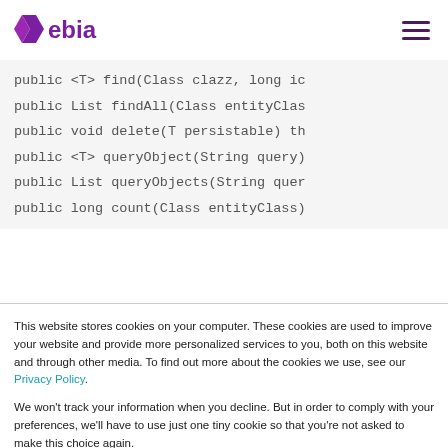Xebia
[Figure (screenshot): Code block showing Java interface method signatures: public <T> find(Class clazz, long id, public List findAll(Class entityClass, public void delete(T persistable) th, public <T> queryObject(String query), public List queryObjects(String query), public long count(Class entityClass)]
This website stores cookies on your computer. These cookies are used to improve your website and provide more personalized services to you, both on this website and through other media. To find out more about the cookies we use, see our Privacy Policy.
We won't track your information when you decline. But in order to comply with your preferences, we'll have to use just one tiny cookie so that you're not asked to make this choice again.